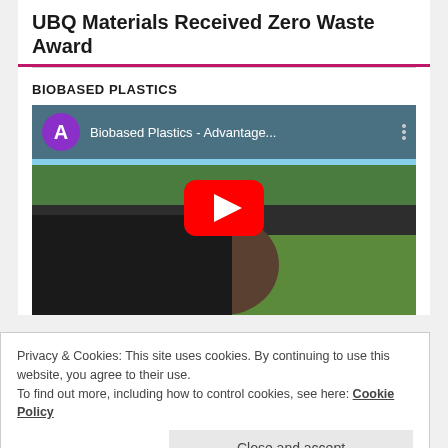UBQ Materials Received Zero Waste Award
BIOBASED PLASTICS
[Figure (screenshot): YouTube video thumbnail showing 'Biobased Plastics - Advantage...' with a purple channel icon letter A, three-dot menu, and red YouTube play button over an outdoor video scene with a person and trees]
Privacy & Cookies: This site uses cookies. By continuing to use this website, you agree to their use.
To find out more, including how to control cookies, see here: Cookie Policy
Close and accept
BIOPLASTICS IN COSMETICS
[Figure (photo): Row of small thumbnail images at the bottom of the page, partially cut off]